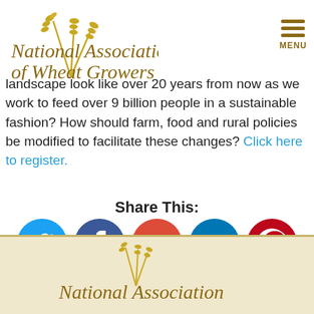[Figure (logo): National Association of Wheat Growers logo with wheat stalk illustration and gold italic text]
[Figure (infographic): Hamburger menu icon with three horizontal gold lines labeled MENU]
landscape look like over 20 years from now as we work to feed over 9 billion people in a sustainable fashion? How should farm, food and rural policies be modified to facilitate these changes? Click here to register.
Share This:
[Figure (infographic): Five social media sharing icons in circles: Twitter (blue), Facebook (dark blue), Google+ (orange-red), LinkedIn (teal-blue), Pinterest (red)]
[Figure (logo): Footer: National Association (of Wheat Growers) logo on beige/tan background]